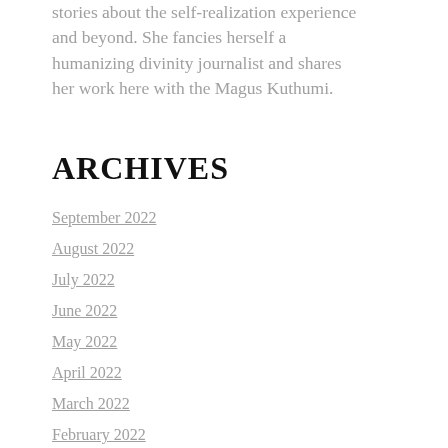stories about the self-realization experience and beyond. She fancies herself a humanizing divinity journalist and shares her work here with the Magus Kuthumi.
ARCHIVES
September 2022
August 2022
July 2022
June 2022
May 2022
April 2022
March 2022
February 2022
December 2021
November 2021
October 2021